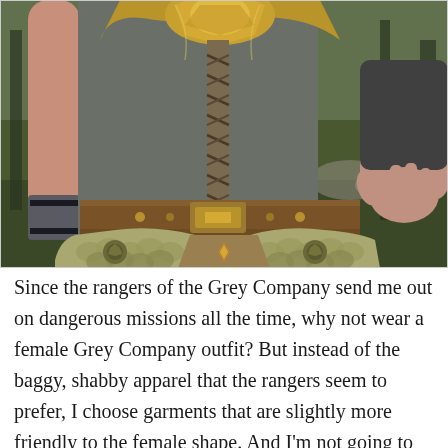[Figure (screenshot): A video game screenshot (likely Lord of the Rings Online or similar MMORPG) showing a female character's torso wearing fantasy grey and gold armor with ornate breastplate, decorative belt with large buckle, and layered pauldrons. A second character's hand is visible on the right. Forest background with trees and rocks.]
Since the rangers of the Grey Company send me out on dangerous missions all the time, why not wear a female Grey Company outfit? But instead of the baggy, shabby apparel that the rangers seem to prefer, I choose garments that are slightly more friendly to the female shape. And I'm not going to hide my red hair underneath